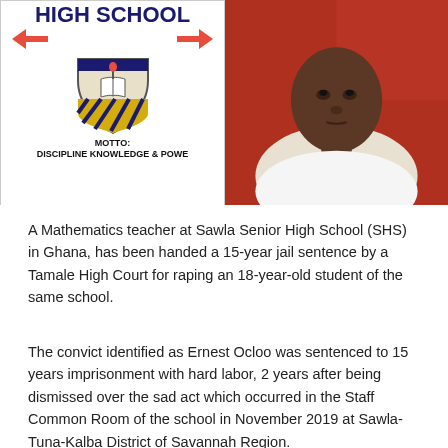[Figure (photo): Split image: left side shows a school sign reading 'HIGH SCHOOL' with a shield logo and motto 'DISCIPLINE KNOWLEDGE & POWER'; right side shows a photo of a man in a white t-shirt against a red background.]
A Mathematics teacher at Sawla Senior High School (SHS) in Ghana, has been handed a 15-year jail sentence by a Tamale High Court for raping an 18-year-old student of the same school.
The convict identified as Ernest Ocloo was sentenced to 15 years imprisonment with hard labor, 2 years after being dismissed over the sad act which occurred in the Staff Common Room of the school in November 2019 at Sawla-Tuna-Kalba District of Savannah Region.